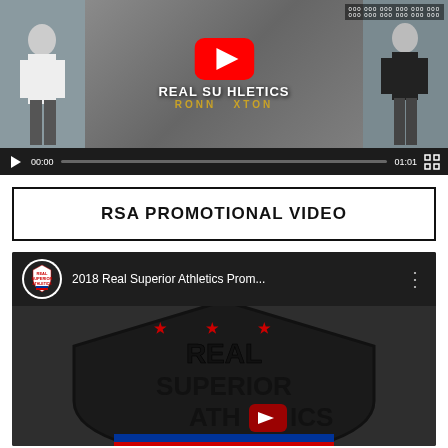[Figure (screenshot): Embedded video player showing 'Real Superior Athletics' with Ronnie Uxton, YouTube play button overlay, controls bar showing 00:00 / 01:01 time]
RSA PROMOTIONAL VIDEO
[Figure (screenshot): YouTube embedded video thumbnail showing '2018 Real Superior Athletics Prom...' with RSA logo and Real Superior Athletics shield logo in the thumbnail]